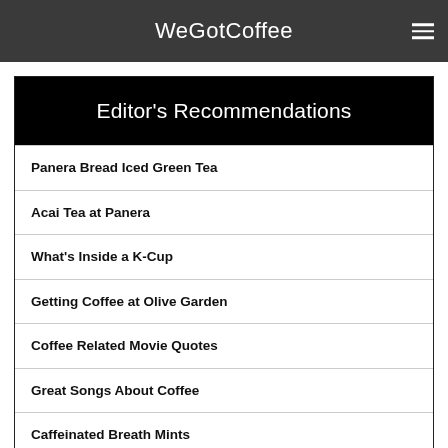WeGotCoffee
Editor's Recommendations
Panera Bread Iced Green Tea
Acai Tea at Panera
What's Inside a K-Cup
Getting Coffee at Olive Garden
Coffee Related Movie Quotes
Great Songs About Coffee
Caffeinated Breath Mints